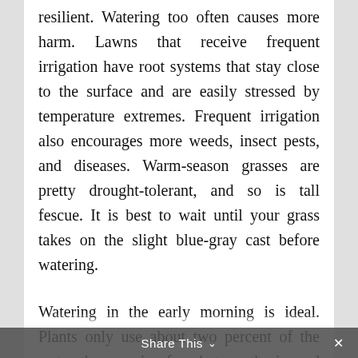resilient. Watering too often causes more harm. Lawns that receive frequent irrigation have root systems that stay close to the surface and are easily stressed by temperature extremes. Frequent irrigation also encourages more weeds, insect pests, and diseases. Warm-season grasses are pretty drought-tolerant, and so is tall fescue. It is best to wait until your grass takes on the slight blue-gray cast before watering.
Watering in the early morning is ideal. Plants only use about two percent of the water they receive for photosynthesis, and the rest is used for cooling. Watering early in the day ensures that your landscape plants can effectively make energy before the temperature gets hot. Irrigation applied during the middle of the day is less efficient because of
Share This